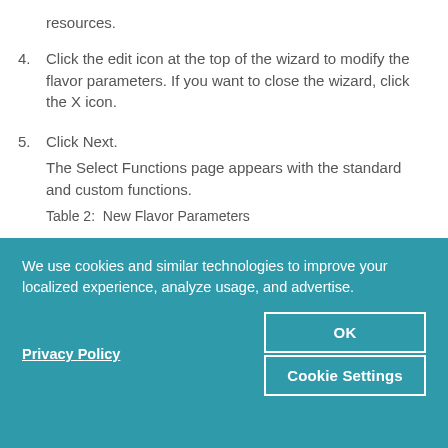resources.
4. Click the edit icon at the top of the wizard to modify the flavor parameters. If you want to close the wizard, click the X icon.
5. Click Next.
The Select Functions page appears with the standard and custom functions.
Table 2:  New Flavor Parameters
We use cookies and similar technologies to improve your localized experience, analyze usage, and advertise.
Privacy Policy
OK
Cookie Settings